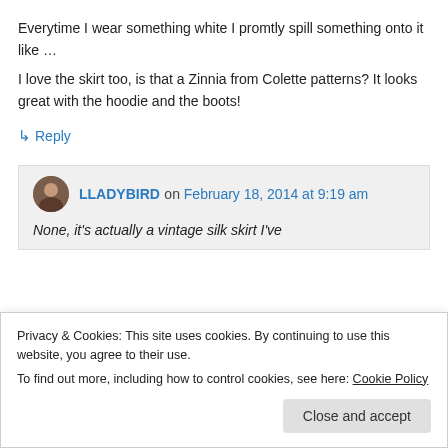Everytime I wear something white I promtly spill something onto it like …
I love the skirt too, is that a Zinnia from Colette patterns? It looks great with the hoodie and the boots!
↳ Reply
LLADYBIRD on February 18, 2014 at 9:19 am
None, it's actually a vintage silk skirt I've
Privacy & Cookies: This site uses cookies. By continuing to use this website, you agree to their use.
To find out more, including how to control cookies, see here: Cookie Policy
Close and accept